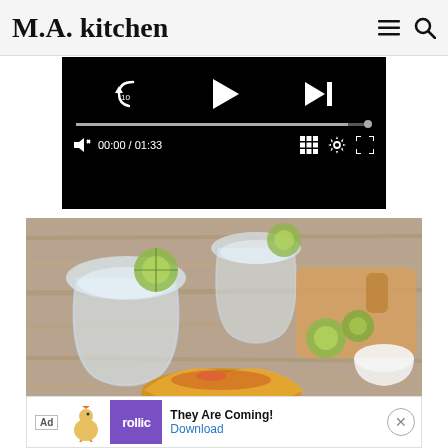M.A. kitchen
[Figure (screenshot): Video player with black background showing playback controls: rewind 10s button, play button, skip-next button, progress bar nearly full, mute button, time display 00:00 / 01:33, grid/chapters button, settings gear button, fullscreen button]
[Figure (photo): Food photo showing margarita glasses with ice and lime slices on a wooden table, with a cutting board, lime wedges, and a small white bowl in the background]
[Figure (screenshot): Ad banner for Rollic game app with purple logo, text 'They Are Coming!' and a Download link, with Ad label and close button]